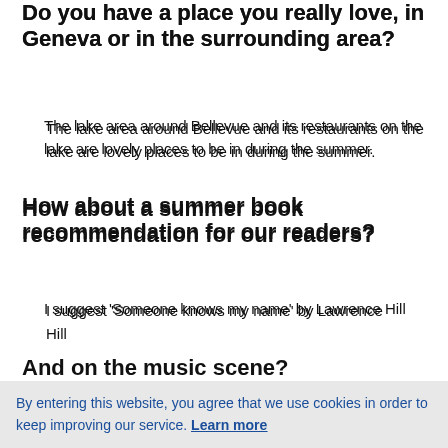Do you have a place you really love, in Geneva or in the surrounding area?
The lake area around Bellevue and its restaurants on the lake are lovely places to be in during the summer.
How about a summer book recommendation for our readers?
I suggest 'Someone knows my name' by Lawrence Hill
And on the music scene?
I am a big fan of reggae and suggest that readers tune in to everything reggae.
By entering this website, you agree that we use cookies in order to keep improving our service. Learn more